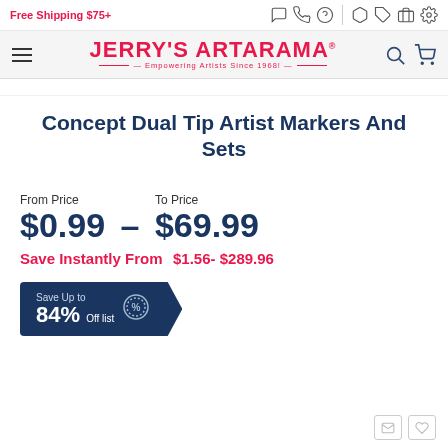Free Shipping $75+
[Figure (logo): Jerry's Artarama logo with tagline 'Empowering Artists Since 1968']
Concept Dual Tip Artist Markers And Sets
From Price $0.99 – To Price $69.99
Save Instantly From $1.56- $289.96
Save Up to 84% Off list